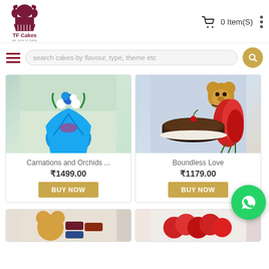[Figure (logo): TF Cakes logo - decorative purple/maroon logo with stylized crown/cake design and text TF Cakes, we love to bake]
0 Item(S)
[Figure (infographic): Search bar with hamburger menu, search input placeholder 'search cakes by flavour, type, theme etc' and yellow circular search button]
[Figure (photo): Carnations and Orchids bouquet wrapped in blue paper]
Carnations and Orchids ...
₹1499.00
BUY NOW
[Figure (photo): Boundless Love combo with chocolate cake, red roses bouquet and teddy bear]
Boundless Love
₹1179.00
BUY NOW
[Figure (photo): Partial view of a product card with teddy bear and chocolates]
[Figure (photo): Partial view of a product card with red roses]